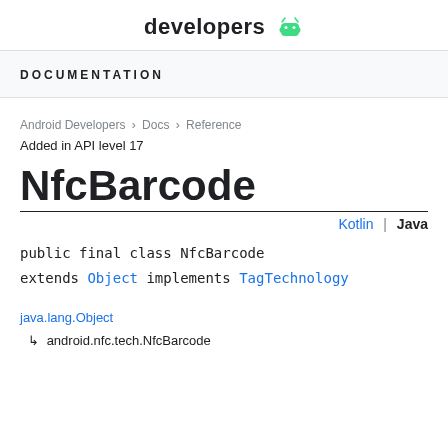developers
DOCUMENTATION
Android Developers > Docs > Reference
Added in API level 17
NfcBarcode
Kotlin | Java
public final class NfcBarcode
extends Object implements TagTechnology
java.lang.Object
↳ android.nfc.tech.NfcBarcode